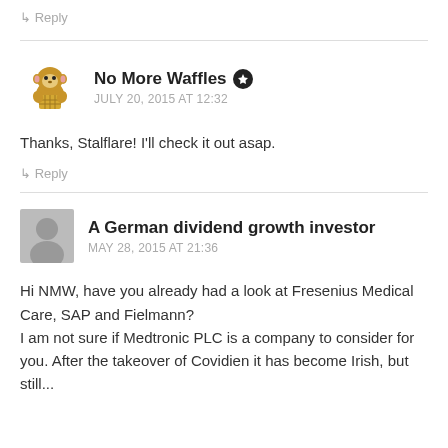↳ Reply
No More Waffles ★
JULY 20, 2015 AT 12:32
Thanks, Stalflare! I'll check it out asap.
↳ Reply
A German dividend growth investor
MAY 28, 2015 AT 21:36
Hi NMW, have you already had a look at Fresenius Medical Care, SAP and Fielmann?
I am not sure if Medtronic PLC is a company to consider for you. After the takeover of Covidien it has become Irish, but still...